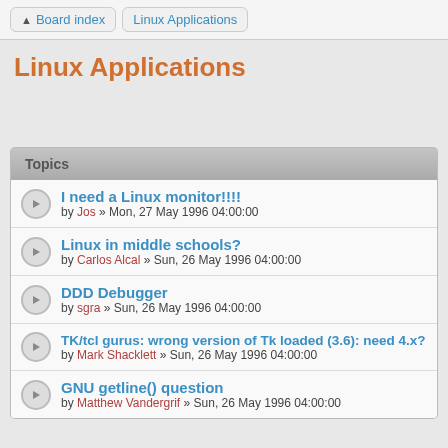Board index | Linux Applications
Linux Applications
Topics
I need a Linux monitor!!!!
by Jos » Mon, 27 May 1996 04:00:00
Linux in middle schools?
by Carlos Alcal » Sun, 26 May 1996 04:00:00
DDD Debugger
by sgra » Sun, 26 May 1996 04:00:00
TK/tcl gurus: wrong version of Tk loaded (3.6): need 4.x?
by Mark Shacklett » Sun, 26 May 1996 04:00:00
GNU getline() question
by Matthew Vandergrif » Sun, 26 May 1996 04:00:00